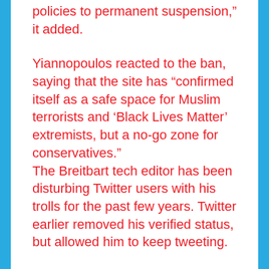policies to permanent suspension,” it added.
Yiannopoulos reacted to the ban, saying that the site has “confirmed itself as a safe space for Muslim terrorists and ‘Black Lives Matter’ extremists, but a no-go zone for conservatives.” The Breitbart tech editor has been disturbing Twitter users with his trolls for the past few years. Twitter earlier removed his verified status, but allowed him to keep tweeting.
Last March, Chuck Johnson who once argued that homosexuality caused a horrendous Amtrak train crash, was permanently barred from the site,